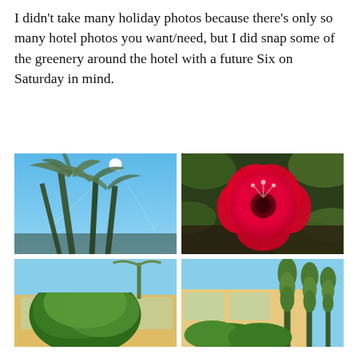I didn't take many holiday photos because there's only so many hotel photos you want/need, but I did snap some of the greenery around the hotel with a future Six on Saturday in mind.
[Figure (photo): Photo looking up at tall palm trees against a bright blue sky with the sun visible creating a lens flare]
[Figure (photo): Close-up photo of a vivid red hibiscus flower with dark centre and stamens, surrounded by green leaves and dark mulch background]
[Figure (photo): Photo of hotel building exterior with a large green bushy tree in front, blue sky above]
[Figure (photo): Photo of hotel building exterior with tall narrow trees/shrubs along the side, blue sky above]